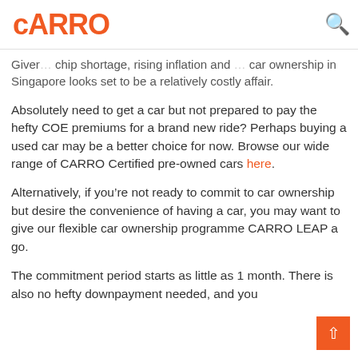CARRO
Given the chip shortage, rising inflation and rising costs of car ownership in Singapore looks set to be a relatively costly affair.
Absolutely need to get a car but not prepared to pay the hefty COE premiums for a brand new ride? Perhaps buying a used car may be a better choice for now. Browse our wide range of CARRO Certified pre-owned cars here.
Alternatively, if you’re not ready to commit to car ownership but desire the convenience of having a car, you may want to give our flexible car ownership programme CARRO LEAP a go.
The commitment period starts as little as 1 month. There is also no hefty downpayment needed, and you